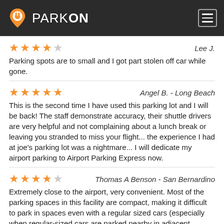PARKON
Lee J.
★★★★☆
Parking spots are to small and I got part stolen off car while gone.
Angel B. - Long Beach
★★★★★
This is the second time I have used this parking lot and I will be back! The staff demonstrate accuracy, their shuttle drivers are very helpful and not complaining about a lunch break or leaving you stranded to miss your flight... the experience I had at joe's parking lot was a nightmare... I will dedicate my airport parking to Airport Parking Express now.
Thomas A Benson - San Bernardino
★★★★☆
Extremely close to the airport, very convenient. Most of the parking spaces in this facility are compact, making it difficult to park in spaces even with a regular sized cars (especially when regular-sized cars are parked nearby in adjacent compact spaces). No wait...